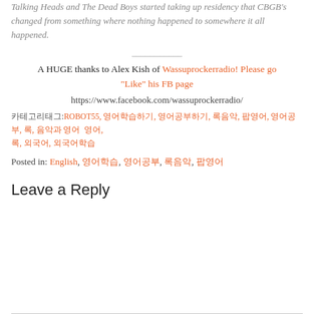Talking Heads and The Dead Boys started taking up residency that CBGB's changed from something where nothing happened to somewhere it all happened.
___________
A HUGE thanks to Alex Kish of Wassuprockerradio! Please go “Like” his FB page
https://www.facebook.com/wassuprockerradio/
카테고리 태그: ROBOT55, 영어학습, 영어공부하기, 록음악, 팝영어, 영어공부, 록, 음악과 영어, 영어, 록, 외국어
Posted in: English, 영어학습, 영어공부, 록음악, 팝영어
Leave a Reply